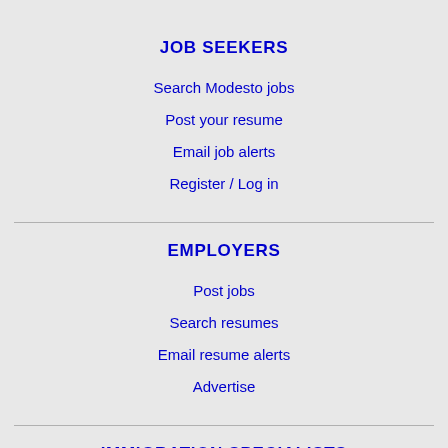JOB SEEKERS
Search Modesto jobs
Post your resume
Email job alerts
Register / Log in
EMPLOYERS
Post jobs
Search resumes
Email resume alerts
Advertise
IMMIGRATION SPECIALISTS
Post jobs